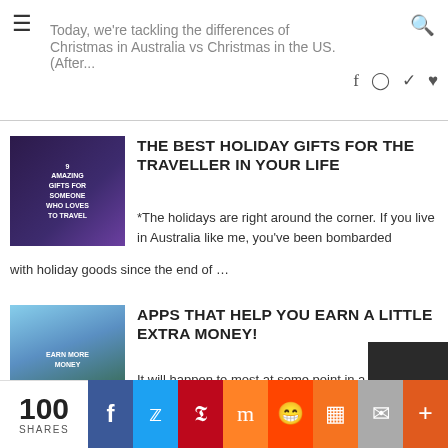Today, we're tackling the differences of Christmas in Australia vs Christmas in the US. (After...
[Figure (photo): Thumbnail image: dark purple background with text '9 Amazing Gifts for Someone Who Loves to Travel']
THE BEST HOLIDAY GIFTS FOR THE TRAVELLER IN YOUR LIFE
*The holidays are right around the corner. If you live in Australia like me, you've been bombarded with holiday goods since the end of ...
[Figure (photo): Thumbnail image: blue-green background with trees and overlay text 'Earn More Money']
APPS THAT HELP YOU EARN A LITTLE EXTRA MONEY!
It will happen to most at some point in a lifetime. The struggle to earn enough money. I feel this topic has become even harder for ...
100 SHARES — Share buttons: Facebook, Twitter, Pinterest, Mix, Reddit, Flipboard, Email, More